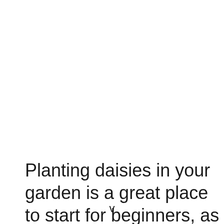Planting daisies in your garden is a great place to start for beginners, as sun-loving
v